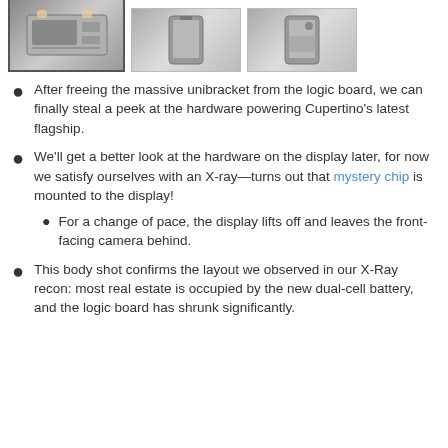[Figure (photo): Three thumbnail images of smartphone internals/teardown photos arranged in a row. First image is highlighted with a border, showing the logic board area. Second and third show front-facing and rear views of the disassembled phone.]
After freeing the massive unibracket from the logic board, we can finally steal a peek at the hardware powering Cupertino's latest flagship.
We'll get a better look at the hardware on the display later, for now we satisfy ourselves with an X-ray—turns out that mystery chip is mounted to the display!
For a change of pace, the display lifts off and leaves the front-facing camera behind.
This body shot confirms the layout we observed in our X-Ray recon: most real estate is occupied by the new dual-cell battery, and the logic board has shrunk significantly.